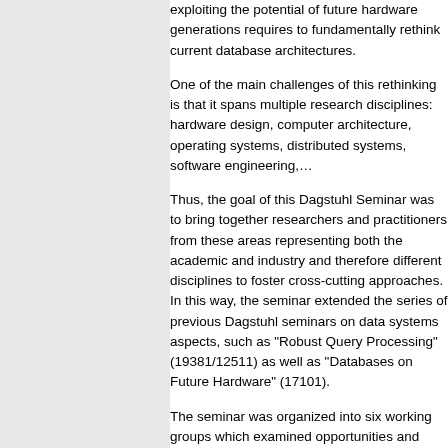exploiting the potential of future hardware generations requires to fundamentally rethink current database architectures.
One of the main challenges of this rethinking is that it spans multiple research disciplines: hardware design, computer architecture, operating systems, distributed systems, software engineering,…
Thus, the goal of this Dagstuhl Seminar was to bring together researchers and practitioners from these areas representing both the academic and industry and therefore different disciplines to foster cross-cutting approaches. In this way, the seminar extended the series of previous Dagstuhl seminars on data systems aspects, such as "Robust Query Processing" (19381/12511) as well as "Databases on Future Hardware" (17101).
The seminar was organized into six working groups which examined opportunities and challenges in order to exploit different hardware features and operating system primitives for data processing:
Database accelerators: Based on an analysis of the potential use of accelerators from the level of individual operators all the way to complex database tasks, the group discussed which current and future accelerator technologies as well as future research directions to advance hardware acceleration in databases.
Memory hierarchies: The group discussed design considerations for non-trival memory hierarchies containing not only DRAM but also non-volatile memory. Within such a hierarchy different policies can be employed: exclusive caching for functionally equ…